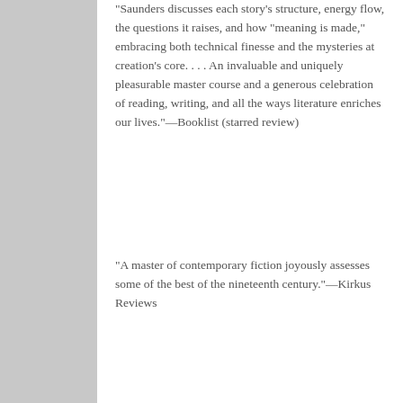“Saunders discusses each story’s structure, energy flow, the questions it raises, and how “meaning is made,” embracing both technical finesse and the mysteries at creation’s core. . . . An invaluable and uniquely pleasurable master course and a generous celebration of reading, writing, and all the ways literature enriches our lives.”—Booklist (starred review)
“A master of contemporary fiction joyously assesses some of the best of the nineteenth century.”—Kirkus Reviews